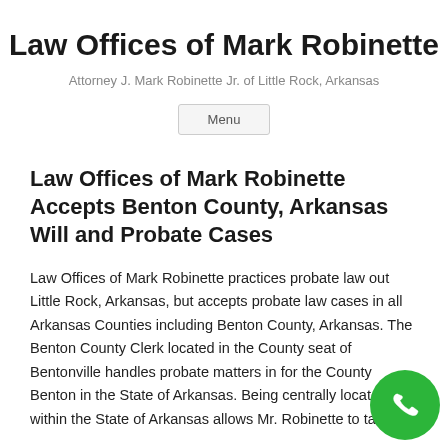Law Offices of Mark Robinette
Attorney J. Mark Robinette Jr. of Little Rock, Arkansas
Menu
Law Offices of Mark Robinette Accepts Benton County, Arkansas Will and Probate Cases
Law Offices of Mark Robinette practices probate law out Little Rock, Arkansas, but accepts probate law cases in all Arkansas Counties including Benton County, Arkansas. The Benton County Clerk located in the County seat of Bentonville handles probate matters in for the County Benton in the State of Arkansas. Being centrally located within the State of Arkansas allows Mr. Robinette to take